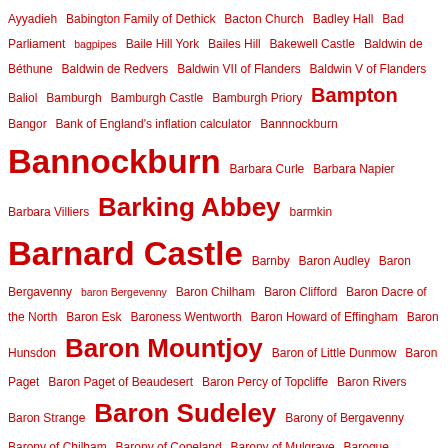Ayyadieh Babington Family of Dethick Bacton Church Badley Hall Bad Parliament bagpipes Baile Hill York Bailes Hill Bakewell Castle Baldwin de Béthune Baldwin de Redvers Baldwin VII of Flanders Baldwin V of Flanders Baliol Bamburgh Bamburgh Castle Bamburgh Priory Bampton Bangor Bank of England's inflation calculator Bannnockburn Bannockburn Barbara Curle Barbara Napier Barbara Villiers Barking Abbey barmkin Barnard Castle Barnby Baron Audley Baron Bergavenny baron Bergevenny Baron Chilham Baron Clifford Baron Dacre of the North Baron Esk Baroness Wentworth Baron Howard of Effingham Baron Hunsdon Baron Mountjoy Baron of Little Dunmow Baron Paget Baron Paget of Beaudesert Baron Percy of Topcliffe Baron Rivers Baron Strange Baron Sudeley Barony of Bergavenny Barony of Chilham Barony of Copeland Barony of Mulgrave Baroque Bartholomew babies Basher Dowsing basilisk Basil Rathbone Basing House Basingwerk Abbey bastard feudalism bastle house Bates' Case Bath Bath Curse Tablet Battalion Intelligence Officer battle cross Battlefield Church Battle of Adwalton Moor Battle of Agincourt